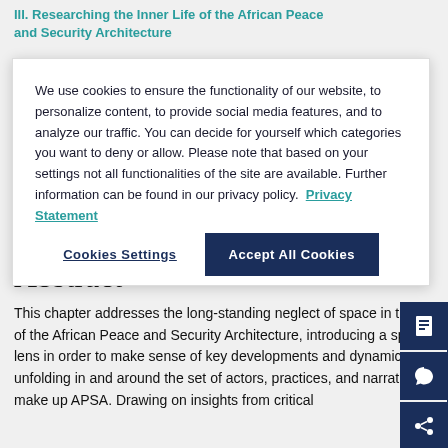III. Researching the Inner Life of the African Peace and Security Architecture
We use cookies to ensure the functionality of our website, to personalize content, to provide social media features, and to analyze our traffic. You can decide for yourself which categories you want to deny or allow. Please note that based on your settings not all functionalities of the site are available. Further information can be found in our privacy policy.  Privacy Statement
Cookies Settings
Accept All Cookies
Abstract
This chapter addresses the long-standing neglect of space in the study of the African Peace and Security Architecture, introducing a spatial lens in order to make sense of key developments and dynamics unfolding in and around the set of actors, practices, and narratives that make up APSA. Drawing on insights from critical